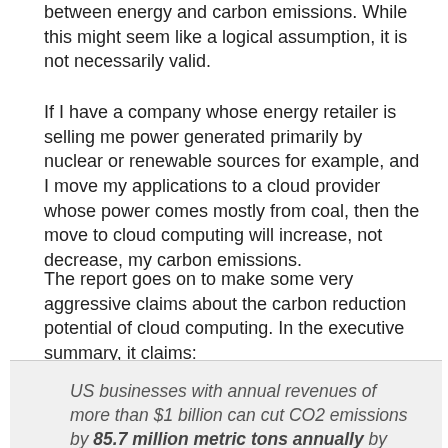between energy and carbon emissions. While this might seem like a logical assumption, it is not necessarily valid.
If I have a company whose energy retailer is selling me power generated primarily by nuclear or renewable sources for example, and I move my applications to a cloud provider whose power comes mostly from coal, then the move to cloud computing will increase, not decrease, my carbon emissions.
The report goes on to make some very aggressive claims about the carbon reduction potential of cloud computing. In the executive summary, it claims:
US businesses with annual revenues of more than $1 billion can cut CO2 emissions by 85.7 million metric tons annually by 2020.